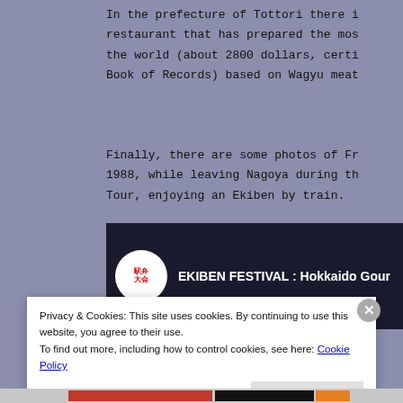In the prefecture of Tottori there i... restaurant that has prepared the mos... the world (about 2800 dollars, certi... Book of Records) based on Wagyu meat...
Finally, there are some photos of Fr... 1988, while leaving Nagoya during th... Tour, enjoying an Ekiben by train.
[Figure (screenshot): Video thumbnail for EKIBEN FESTIVAL: Hokkaido Gour... showing a circular badge with Japanese characters (駅弁大会) and the title text on a dark background with a bottle/container visible.]
Privacy & Cookies: This site uses cookies. By continuing to use this website, you agree to their use.
To find out more, including how to control cookies, see here: Cookie Policy
[Close and accept button]